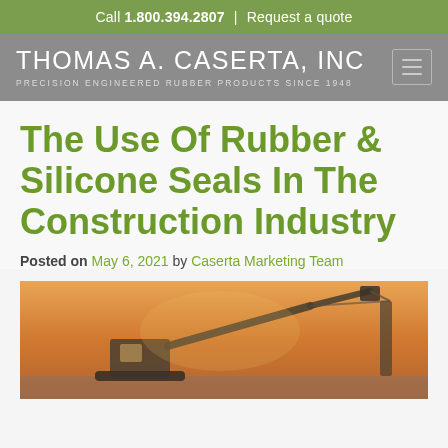Call 1.800.394.2807 | Request a quote
THOMAS A. CASERTA, INC
PRECISION ENGINEERED RUBBER PRODUCTS SINCE 1948
The Use Of Rubber & Silicone Seals In The Construction Industry
Posted on May 6, 2021 by Caserta Marketing Team
[Figure (photo): Construction excavator/crane machine photographed at sunset with orange sky background]